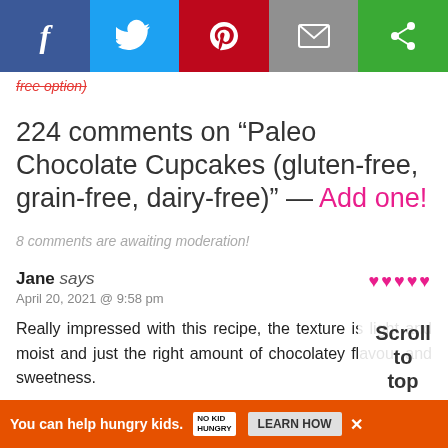[Figure (other): Social share bar with Facebook, Twitter, Pinterest, Email, and a green share button icons]
free option)
224 comments on “Paleo Chocolate Cupcakes (gluten-free, grain-free, dairy-free)” — Add one!
8 comments are awaiting moderation!
Jane says
April 20, 2021 @ 9:58 pm
Really impressed with this recipe, the texture is light and moist and just the right amount of chocolatey flavour and sweetness.
[Figure (other): Scroll to top overlay button]
[Figure (other): Advertisement bar: You can help hungry kids. No Kid Hungry. Learn How.]